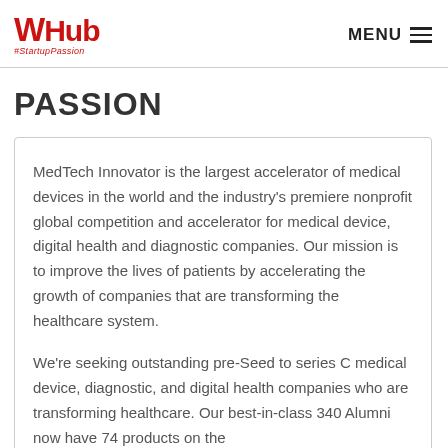WHub #StartupPassion | MENU
PASSION
MedTech Innovator is the largest accelerator of medical devices in the world and the industry's premiere nonprofit global competition and accelerator for medical device, digital health and diagnostic companies. Our mission is to improve the lives of patients by accelerating the growth of companies that are transforming the healthcare system.
We're seeking outstanding pre-Seed to series C medical device, diagnostic, and digital health companies who are transforming healthcare. Our best-in-class 340 Alumni now have 74 products on the